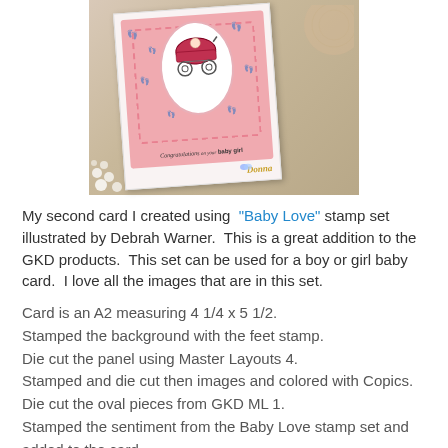[Figure (photo): A pink baby congratulations card featuring a baby carriage/pram illustration on a white oval, pink scalloped border, baby footprint background stamps, and 'Congratulations on your baby girl' sentiment. The card is photographed on a wooden surface with white flowers in the background. Signed 'Donna' in gold script.]
My second card I created using "Baby Love" stamp set illustrated by Debrah Warner.  This is a great addition to the GKD products.  This set can be used for a boy or girl baby card.  I love all the images that are in this set.
Card is an A2 measuring 4 1/4 x 5 1/2.
Stamped the background with the feet stamp.
Die cut the panel using Master Layouts 4.
Stamped and die cut then images and colored with Copics.
Die cut the oval pieces from GKD ML 1.
Stamped the sentiment from the Baby Love stamp set and added to the card.
To finish off the card, added some rhinestones to the